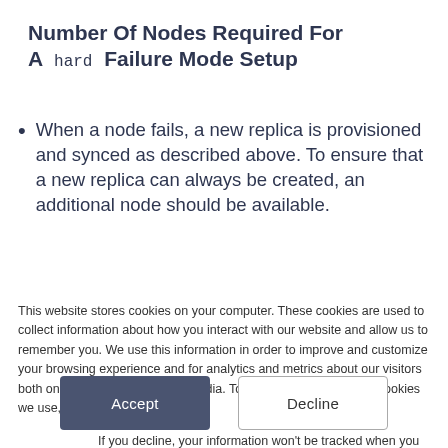Number Of Nodes Required For A hard Failure Mode Setup
When a node fails, a new replica is provisioned and synced as described above. To ensure that a new replica can always be created, an additional node should be available.
This website stores cookies on your computer. These cookies are used to collect information about how you interact with our website and allow us to remember you. We use this information in order to improve and customize your browsing experience and for analytics and metrics about our visitors both on this website and other media. To find out more about the cookies we use, see our Privacy Policy.
If you decline, your information won't be tracked when you visit this website. A single cookie will be used in your browser to remember your preference not to be tracked.